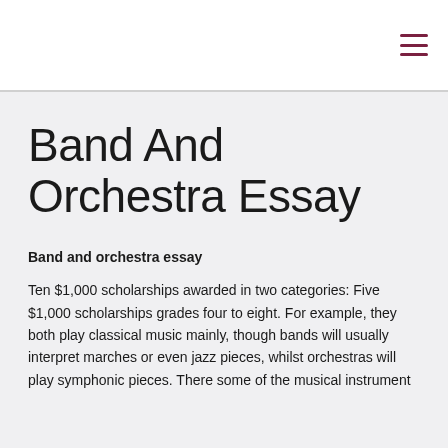≡
Band And Orchestra Essay
Band and orchestra essay
Ten $1,000 scholarships awarded in two categories: Five $1,000 scholarships grades four to eight. For example, they both play classical music mainly, though bands will usually interpret marches or even jazz pieces, whilst orchestras will play symphonic pieces. There some of the musical instrument